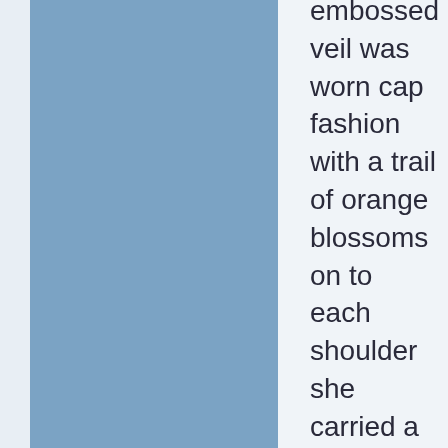embossed veil was worn cap fashion with a trail of orange blossoms on to each shoulder she carried a sheaf of cactus dahlias and roses.
The bridesmaid was Miss Vera Reading, sister of the bridegroom, and she wore a pale pink satin ankle-length frock and hat to tone, and carried a bouquet of pink roses and blue delphiniums.
The train-bearer, Alma Berlefold (niece of the bridegroom) wore an ankle-length frock of pale blue satin relieved with silver.
Mr. Reg. Spinks (brother of the bride)